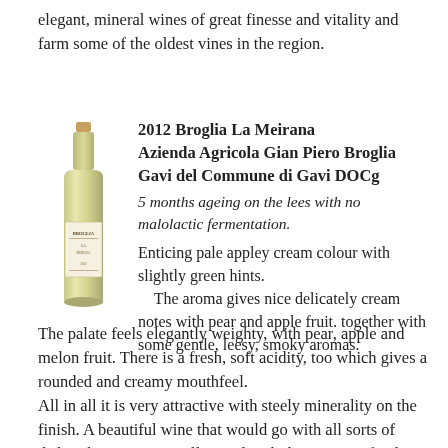elegant, mineral wines of great finesse and vitality and farm some of the oldest vines in the region.
[Figure (photo): Bottle of 2012 Broglia La Meirana wine with label visible]
2012 Broglia La Meirana
Azienda Agricola Gian Piero Broglia
Gavi del Commune di Gavi DOCg
5 months ageing on the lees with no malolactic fermentation.
Enticing pale appley cream colour with slightly green hints.
The aroma gives nice delicately cream notes with pear and apple fruit. together with some gentle, leesy, smoky aromas.
The palate feels elegantly weighty, with pear, apple and melon fruit. There is a fresh, soft acidity, too which gives a rounded and creamy mouthfeel.
All in all it is very attractive with steely minerality on the finish. A beautiful wine that would go with all sorts of dishes, but was especially good with the Ligurian food they served – 90/100